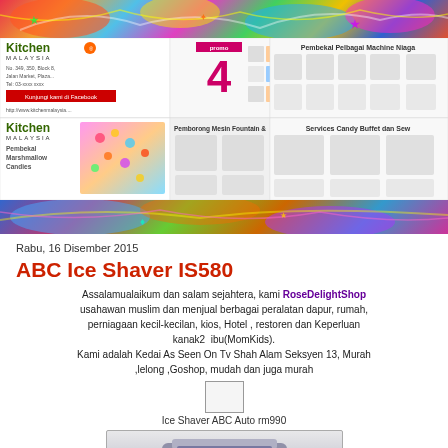[Figure (photo): Graffiti art banner at top of page]
[Figure (screenshot): Kitchen Malaysia advertisement banner with product images and logos including Pembekal Pelbagai Machine Niaga, Pemborong Mesin Fountain, Pembekal Marshmallow Candies, Services Candy Buffet dan Sew]
[Figure (photo): Graffiti art banner strip below advertisement]
Rabu, 16 Disember 2015
ABC Ice Shaver IS580
Assalamualaikum dan salam sejahtera, kami RoseDelightShop usahawan muslim dan menjual berbagai peralatan dapur, rumah, perniagaan kecil-kecilan, kios, Hotel , restoren dan Keperluan kanak2  ibu(MomKids).
Kami adalah Kedai As Seen On Tv Shah Alam Seksyen 13, Murah ,lelong ,Goshop, mudah dan juga murah
Ice Shaver ABC Auto rm990
[Figure (photo): Partial image of ABC Ice Shaver product at bottom of page]